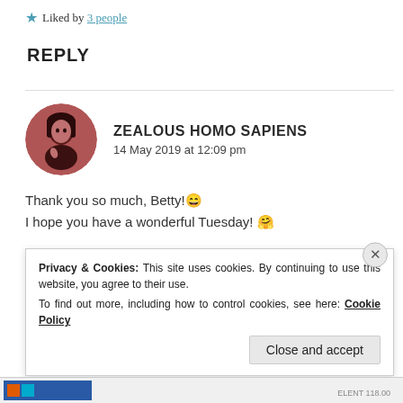★ Liked by 3 people
REPLY
ZEALOUS HOMO SAPIENS
14 May 2019 at 12:09 pm
Thank you so much, Betty! 😀
I hope you have a wonderful Tuesday! 🤗
★ Liked by 1 person
Privacy & Cookies: This site uses cookies. By continuing to use this website, you agree to their use.
To find out more, including how to control cookies, see here: Cookie Policy
Close and accept